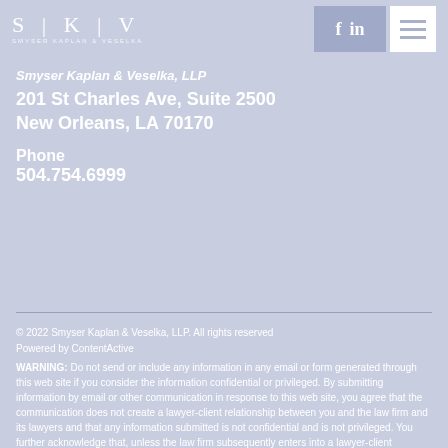SKV — Smyser Kaplan & Veselka
Smyser Kaplan & Veselka, LLP
201 St Charles Ave, Suite 2500
New Orleans, LA 70170
Phone
504.754.6999
© 2022 Smyser Kaplan & Veselka, LLP. All rights reserved
Powered by ContentActive
WARNING: Do not send or include any information in any email or form generated through this web site if you consider the information confidential or privileged. By submitting information by email or other communication in response to this web site, you agree that the communication does not create a lawyer-client relationship between you and the law firm and its lawyers and that any information submitted is not confidential and is not privileged. You further acknowledge that, unless the law firm subsequently enters into a lawyer-client relationship with you, any information you provide will not be treated as confidential and any such information may be used adversely to you and for the benefit of current or future clients of the law firm.